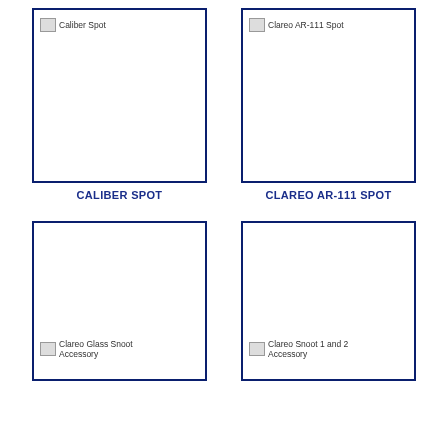[Figure (photo): Caliber Spot product image (broken/unloaded)]
CALIBER SPOT
[Figure (photo): Clareo AR-111 Spot product image (broken/unloaded)]
CLAREO AR-111 SPOT
[Figure (photo): Clareo Glass Snoot Accessory product image (broken/unloaded)]
[Figure (photo): Clareo Snoot 1 and 2 Accessory product image (broken/unloaded)]